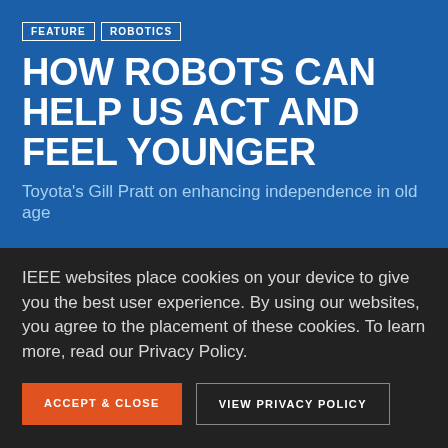FEATURE | ROBOTICS
HOW ROBOTS CAN HELP US ACT AND FEEL YOUNGER
Toyota's Gill Pratt on enhancing independence in old age
IEEE websites place cookies on your device to give you the best user experience. By using our websites, you agree to the placement of these cookies. To learn more, read our Privacy Policy.
ACCEPT & CLOSE
VIEW PRIVACY POLICY